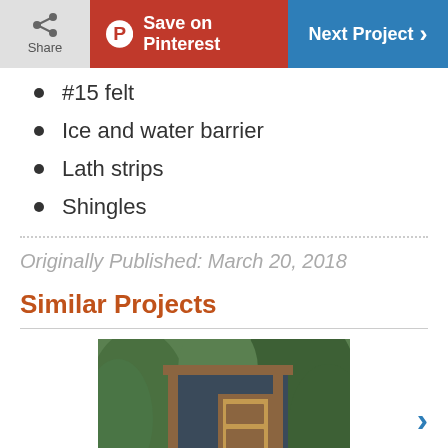Share | Save on Pinterest | Next Project
#15 felt
Ice and water barrier
Lath strips
Shingles
Originally Published: March 20, 2018
Similar Projects
[Figure (photo): Exterior photo of a modern dark-sided wooden shed with open door, surrounded by green trees]